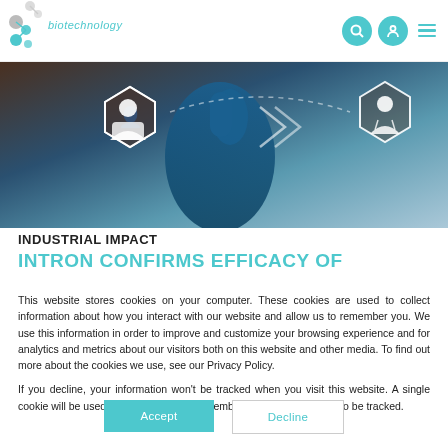biotechnology
[Figure (photo): Banner image showing a gloved hand pointing at digital medical icons including a scientist and a doctor in hexagonal frames, on a blue/brown background]
INDUSTRIAL IMPACT
INTRON CONFIRMS EFFICACY OF
This website stores cookies on your computer. These cookies are used to collect information about how you interact with our website and allow us to remember you. We use this information in order to improve and customize your browsing experience and for analytics and metrics about our visitors both on this website and other media. To find out more about the cookies we use, see our Privacy Policy.
If you decline, your information won't be tracked when you visit this website. A single cookie will be used in your browser to remember your preference not to be tracked.